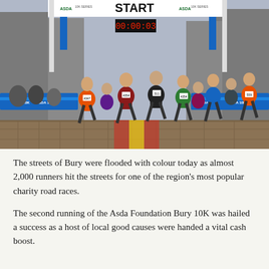[Figure (photo): Photograph of runners at the start of the Asda Foundation Bury 10K race. A large 'START' banner spans the street. Runners in colourful athletic gear race along a cobblestone street flanked by blue crowd-control barriers. A digital timer reads 00:00:03. Spectators line the barriers.]
The streets of Bury were flooded with colour today as almost 2,000 runners hit the streets for one of the region's most popular charity road races.
The second running of the Asda Foundation Bury 10K was hailed a success as a host of local good causes were handed a vital cash boost.